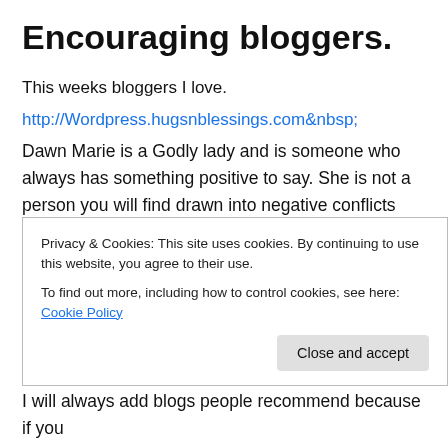Encouraging bloggers.
This weeks bloggers I love.
http://Wordpress.hugsnblessings.com&nbsp;
Dawn Marie is a Godly lady and is someone who always has something positive to say. She is not a person you will find drawn into negative conflicts about anyone, she sees everyone as souls. As a consequence she has nothing but kindness to give to all people. I totally respect her and am happy to call her my friend.
http://heidihiort.com&nbsp;
Privacy & Cookies: This site uses cookies. By continuing to use this website, you agree to their use.
To find out more, including how to control cookies, see here: Cookie Policy
Close and accept
I will always add blogs people recommend because if you